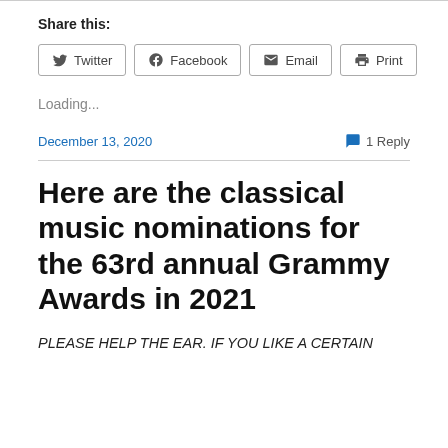Share this:
Twitter  Facebook  Email  Print
Loading...
December 13, 2020
1 Reply
Here are the classical music nominations for the 63rd annual Grammy Awards in 2021
PLEASE HELP THE EAR. IF YOU LIKE A CERTAIN